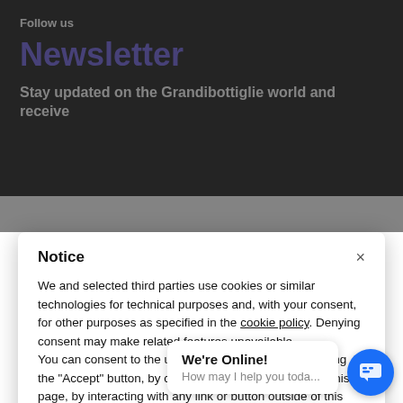Follow us
Newsletter
Stay updated on the Grandibottiglie world and receive
Notice
We and selected third parties use cookies or similar technologies for technical purposes and, with your consent, for other purposes as specified in the cookie policy. Denying consent may make related features unavailable.
You can consent to the use of such technologies by using the "Accept" button, by closing this notice, by scrolling this page, by interacting with any link or button outside of this notice or by continuing to browse otherwise.
Accept
Learn
We're Online!
How may I help you toda...